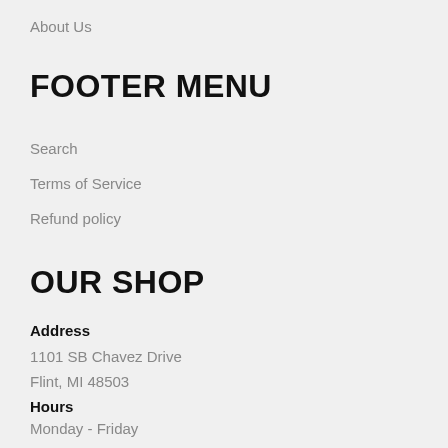About Us
FOOTER MENU
Search
Terms of Service
Refund policy
OUR SHOP
Address
1101 SB Chavez Drive
Flint, MI 48503
Hours
Monday - Friday
8 AM - 5 PM EST
Phone
1-810-893-6265 Ext. 1